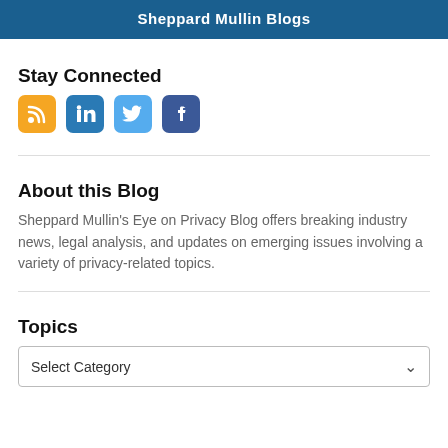Sheppard Mullin Blogs
Stay Connected
[Figure (infographic): Row of four social media icons: RSS (orange), LinkedIn (blue), Twitter (light blue), Facebook (dark blue)]
About this Blog
Sheppard Mullin’s Eye on Privacy Blog offers breaking industry news, legal analysis, and updates on emerging issues involving a variety of privacy-related topics.
Topics
Select Category